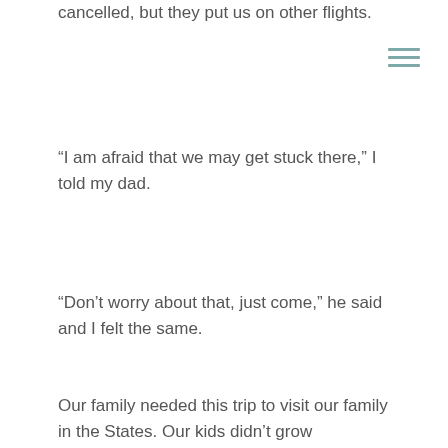cancelled, but they put us on other flights.
“I am afraid that we may get stuck there,” I told my dad.
“Don’t worry about that, just come,” he said and I felt the same.
Our family needed this trip to visit our family in the States. Our kids didn’t grow